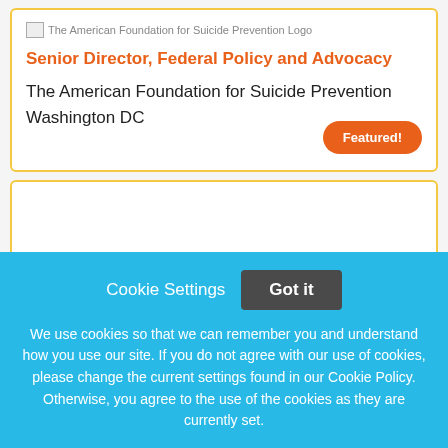[Figure (logo): The American Foundation for Suicide Prevention Logo]
Senior Director, Federal Policy and Advocacy
The American Foundation for Suicide Prevention
Washington DC
Featured!
Cookie Settings  Got it
We use cookies so that we can remember you and understand how you use our site. If you do not agree with our use of cookies, please change the current settings found in our Cookie Policy. Otherwise, you agree to the use of the cookies as they are currently set.